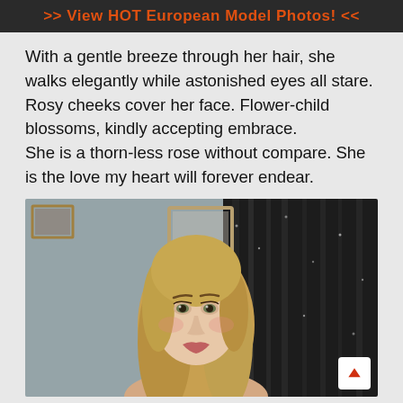>> View HOT European Model Photos! <<
With a gentle breeze through her hair, she walks elegantly while astonished eyes all stare.
Rosy cheeks cover her face. Flower-child blossoms, kindly accepting embrace.
She is a thorn-less rose without compare. She is the love my heart will forever endear.
[Figure (photo): Photo of a young woman with long blonde hair looking upward, standing in a room with grey textured wall on the left and dark sequined curtain on the right. A mirror frame is visible in the background.]